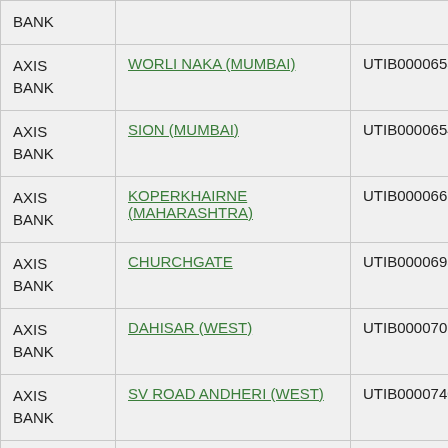| Bank | Branch | IFSC | Code |
| --- | --- | --- | --- |
| AXIS BANK |  |  |  |
| AXIS BANK | WORLI NAKA (MUMBAI) | UTIB0000653 | 4002 |
| AXIS BANK | SION (MUMBAI) | UTIB0000654 | 4002 |
| AXIS BANK | KOPERKHAIRNE (MAHARASHTRA) | UTIB0000661 | 4002 |
| AXIS BANK | CHURCHGATE | UTIB0000695 | 4002 |
| AXIS BANK | DAHISAR (WEST) | UTIB0000701 | 4002 |
| AXIS BANK | SV ROAD ANDHERI (WEST) | UTIB0000740 | 4002 |
| AXIS BANK | SAKI NAKA ANDHERI (EAST) | UTIB0000741 | 4002 |